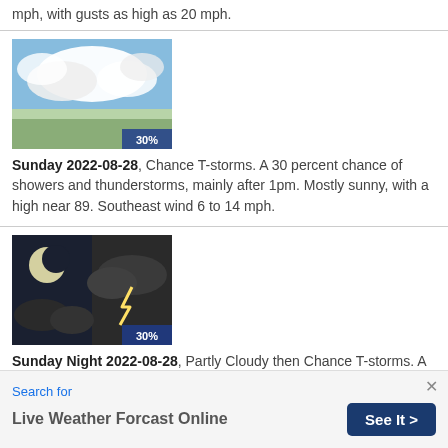mph, with gusts as high as 20 mph.
[Figure (photo): Weather icon showing partly cloudy sky with cumulus clouds, labeled 30%]
Sunday 2022-08-28, Chance T-storms. A 30 percent chance of showers and thunderstorms, mainly after 1pm. Mostly sunny, with a high near 89. Southeast wind 6 to 14 mph.
[Figure (photo): Weather icon showing night scene with moon and lightning bolt, labeled 30%]
Sunday Night 2022-08-28, Partly Cloudy then Chance T-storms. A 30 percent chance of showers and thunderstorms after 1am. Partly cloudy, with a low around 69. Southeast wind 8 to 14 mph.
Search for
Live Weather Forcast Online